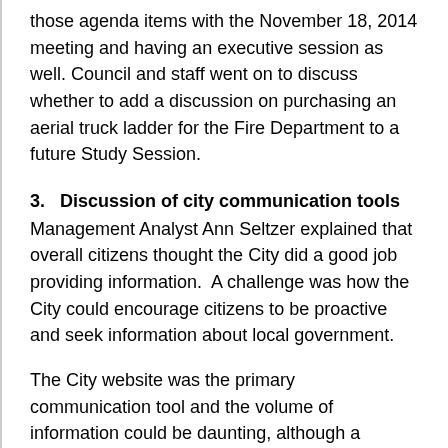those agenda items with the November 18, 2014 meeting and having an executive session as well. Council and staff went on to discuss whether to add a discussion on purchasing an aerial truck ladder for the Fire Department to a future Study Session.
3.   Discussion of city communication tools
Management Analyst Ann Seltzer explained that overall citizens thought the City did a good job providing information.  A challenge was how the City could encourage citizens to be proactive and seek information about local government.
The City website was the primary communication tool and the volume of information could be daunting, although a powerful tool for users.  Ms. Seltzer clarified the Commission or Committee staff liaison are responsible for adding agendas and minutes to the